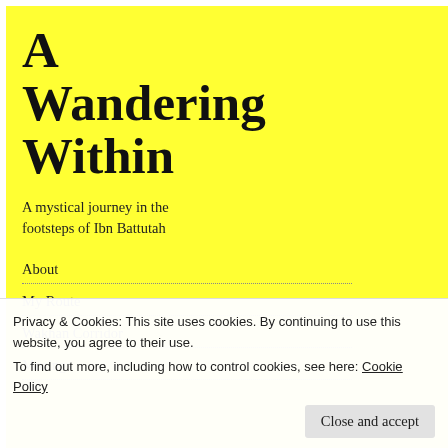[Figure (illustration): Yellow book cover for 'A Wandering Within: A mystical journey in the footsteps of Ibn Battutah' with navigation links: About, My Route, Wakhan Corridor, Musings]
Nicho
The ro
Rama
Borde
A Nig
RECENT CO
[Figure (photo): Red geometric pattern thumbnail]
D
[Figure (photo): Pink geometric pattern thumbnail]
oe
[Figure (photo): Red/multicolor pattern thumbnail]
D
Privacy & Cookies: This site uses cookies. By continuing to use this website, you agree to their use.
To find out more, including how to control cookies, see here: Cookie Policy
Close and accept